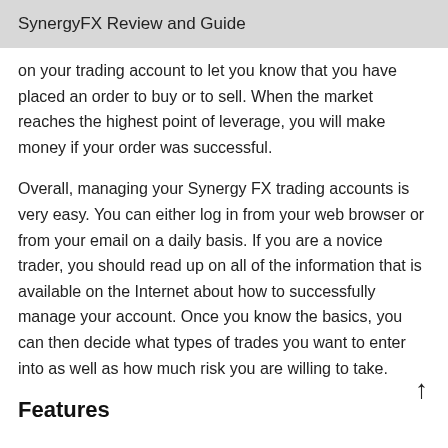SynergyFX Review and Guide
on your trading account to let you know that you have placed an order to buy or to sell. When the market reaches the highest point of leverage, you will make money if your order was successful.
Overall, managing your Synergy FX trading accounts is very easy. You can either log in from your web browser or from your email on a daily basis. If you are a novice trader, you should read up on all of the information that is available on the Internet about how to successfully manage your account. Once you know the basics, you can then decide what types of trades you want to enter into as well as how much risk you are willing to take.
Features